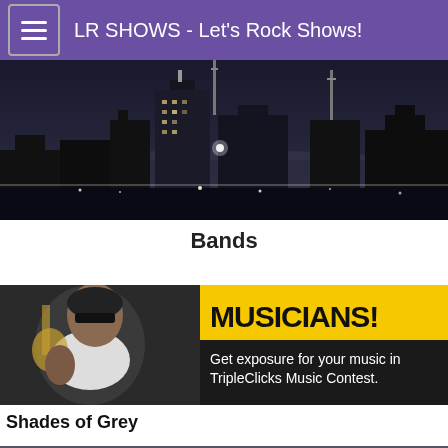LR SHOWS - Let's Rock Shows!
[Figure (photo): Black and white nighttime city skyline with illuminated skyscrapers and antenna towers]
Bands
[Figure (photo): Ad banner showing a musician holding a guitar with text 'MUSICIANS! Get exposure for your music in TripleClicks Music Contest.' on yellow and black background]
Shades of Grey
[Figure (photo): Partial bottom strip image, colorful]